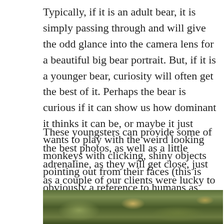Typically, if it is an adult bear, it is simply passing through and will give the odd glance into the camera lens for a beautiful big bear portrait. But, if it is a younger bear, curiosity will often get the best of it. Perhaps the bear is curious if it can show us how dominant it thinks it can be, or maybe it just wants to play with the weird looking monkeys with clicking, shiny objects pointing out from their faces (this is obviously a reference to humans as apes with cameras if my bear POV didn't come through clearly).
These youngsters can provide some of the best photos, as well as a little adrenaline, as they will get close, just as a couple of our clients were lucky to enough to experience this year.
[Figure (photo): Partial view of a nature/wildlife photo showing green foliage and yellow vegetation, likely the bottom edge of a bear photography scene.]